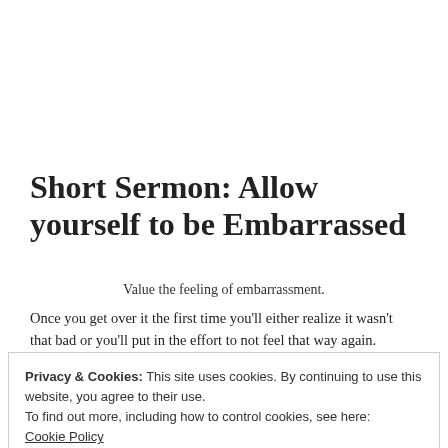Short Sermon: Allow yourself to be Embarrassed
Value the feeling of embarrassment.
Once you get over it the first time you'll either realize it wasn't that bad or you'll put in the effort to not feel that way again.
Privacy & Cookies: This site uses cookies. By continuing to use this website, you agree to their use.
To find out more, including how to control cookies, see here: Cookie Policy
Close and accept